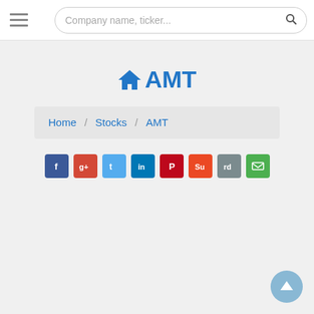Company name, ticker...
AMT
Home / Stocks / AMT
[Figure (infographic): Row of social sharing buttons: Facebook, Google+, Twitter, LinkedIn, Pinterest, StumbleUpon, Reddit, Email]